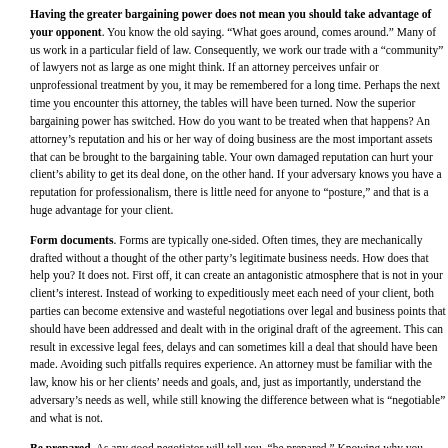Having the greater bargaining power does not mean you should take advantage of your opponent. You know the old saying. "What goes around, comes around." Many of us work in a particular field of law. Consequently, we work our trade with a "community" of lawyers not as large as one might think. If an attorney perceives unfair or unprofessional treatment by you, it may be remembered for a long time. Perhaps the next time you encounter this attorney, the tables will have been turned. Now the superior bargaining power has switched. How do you want to be treated when that happens? An attorney's reputation and his or her way of doing business are the most important assets that can be brought to the bargaining table. Your own damaged reputation can hurt your client's ability to get its deal done, on the other hand. If your adversary knows you have a reputation for professionalism, there is little need for anyone to "posture," and that is a huge advantage for your client.
Form documents. Forms are typically one-sided. Often times, they are mechanically drafted without a thought of the other party's legitimate business needs. How does that help you? It does not. First off, it can create an antagonistic atmosphere that is not in your client's interest. Instead of working to expeditiously meet each need of your client, both parties can become extensive and wasteful negotiations over legal and business points that should have been addressed and dealt with in the original draft of the agreement. This can result in excessive legal fees, delays and can sometimes kill a deal that should have been made. Avoiding such pitfalls requires experience. An attorney must be familiar with the law, know his or her clients' needs and goals, and, just as importantly, understand the adversary's needs as well, while still knowing the difference between what is "negotiable" and what is not.
Be prepared. As any good negotiator will tell you, "be prepared." Knowing why you want a particular issue resolved a particular way and being able to communicate that message